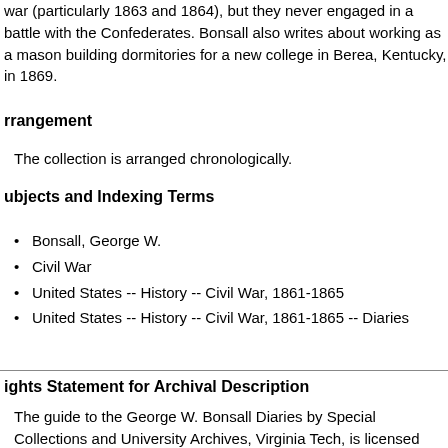war (particularly 1863 and 1864), but they never engaged in a battle with the Confederates. Bonsall also writes about working as a mason building dormitories for a new college in Berea, Kentucky, in 1869.
Arrangement
The collection is arranged chronologically.
Subjects and Indexing Terms
Bonsall, George W.
Civil War
United States -- History -- Civil War, 1861-1865
United States -- History -- Civil War, 1861-1865 -- Diaries
Rights Statement for Archival Description
The guide to the George W. Bonsall Diaries by Special Collections and University Archives, Virginia Tech, is licensed under a CC0 ( https://creativecommons.org/share-your-work/public-domain/cc0/ ).